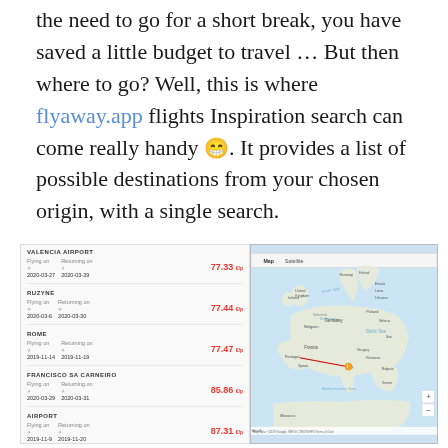the need to go for a short break, you have saved a little budget to travel … But then where to go? Well, this is where flyaway.app flights Inspiration search can come really handy 😁. It provides a list of possible destinations from your chosen origin, with a single search.
[Figure (screenshot): Screenshot of flyaway.app flight inspiration search results on the left (flight list with destinations: Valencia Airport, Ruzyne, Rome, Francisco Sa Carneiro, Airport) and a Google Map on the right showing Europe with a red line from Spain to Italy.]